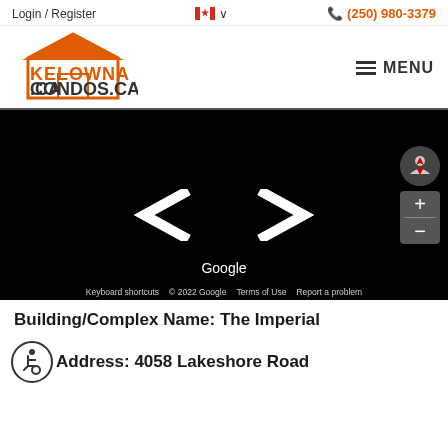Login / Register | (250) 980-3379
[Figure (logo): Kelowna Condos CA logo - orange house outline with KELOWNA CONDOS.CA text]
[Figure (screenshot): Google Maps street view / dark map screenshot showing navigation arrows and Google branding with keyboard shortcuts and terms of use footer]
Building/Complex Name: The Imperial
Address: 4058 Lakeshore Road